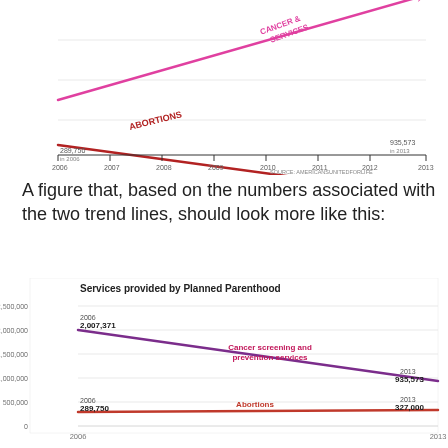[Figure (line-chart): Top portion of a line chart showing two crossing trend lines: Cancer screening and prevention services (declining, pink/magenta) and Abortions (increasing, dark red). Values shown: 289,750 in 2006, 935,573 in 2013 for cancer screening; abortions line goes up. Source: AmericansUnitedForLife.]
A figure that, based on the numbers associated with the two trend lines, should look more like this:
[Figure (line-chart): Services provided by Planned Parenthood]